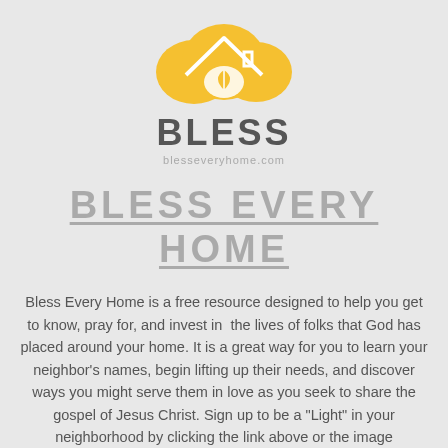[Figure (logo): Bless Every Home logo: yellow house/cloud shape with white hand holding a leaf, with BLESS text and blesseveryhome.com URL below]
BLESS EVERY HOME
Bless Every Home is a free resource designed to help you get to know, pray for, and invest in the lives of folks that God has placed around your home. It is a great way for you to learn your neighbor's names, begin lifting up their needs, and discover ways you might serve them in love as you seek to share the gospel of Jesus Christ. Sign up to be a "Light" in your neighborhood by clicking the link above or the image